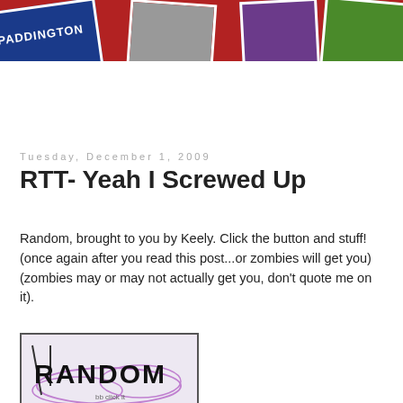[Figure (photo): Blog header banner with red background and polaroid-style photos including a Paddington station sign, gray texture, purple image, and green foliage]
Tuesday, December 1, 2009
RTT- Yeah I Screwed Up
Random, brought to you by Keely. Click the button and stuff! (once again after you read this post...or zombies will get you) (zombies may or may not actually get you, don't quote me on it).
[Figure (photo): Graffiti-style 'RANDOM' text image with purple and black design on light background]